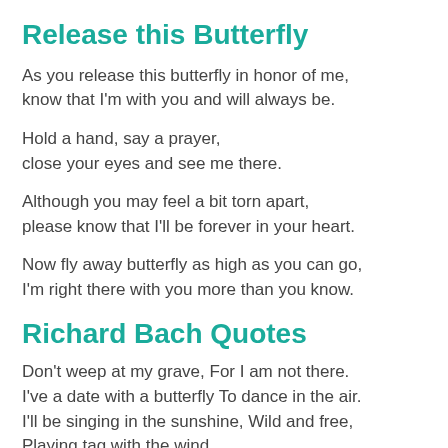Release this Butterfly
As you release this butterfly in honor of me,
know that I'm with you and will always be.
Hold a hand, say a prayer,
close your eyes and see me there.
Although you may feel a bit torn apart,
please know that I'll be forever in your heart.
Now fly away butterfly as high as you can go,
I'm right there with you more than you know.
Richard Bach Quotes
Don't weep at my grave, For I am not there.
I've a date with a butterfly To dance in the air.
I'll be singing in the sunshine, Wild and free,
Playing tag with the wind
While I'm waiting for thee.